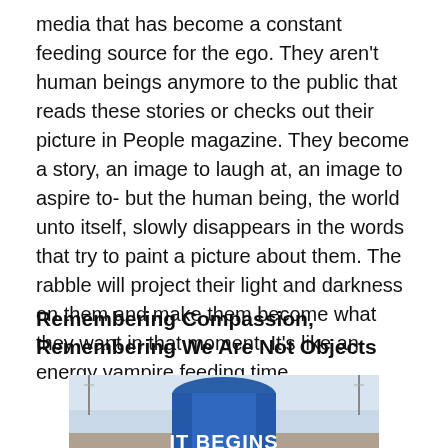media that has become a constant feeding source for the ego.  They aren't human beings anymore to the public that reads these stories or checks out their picture in People magazine.  They become a story, an image to laugh at, an image to aspire to- but the human being, the world unto itself, slowly disappears in the words that try to paint a picture about them.  The rabble will project their light and darkness on them and make them become what they want in that moment.  It's like an energy vampire feeding time.
Remembering Compassion, Remembering We Are Not Objects
[Figure (photo): A person wearing a blue shirt/jacket with 'IT BEGINS' printed on the back, standing in an outdoor urban setting.]